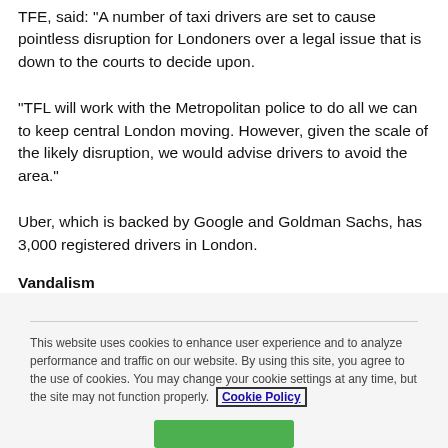TFE, said: "A number of taxi drivers are set to cause pointless disruption for Londoners over a legal issue that is down to the courts to decide upon.
"TFL will work with the Metropolitan police to do all we can to keep central London moving. However, given the scale of the likely disruption, we would advise drivers to avoid the area."
Uber, which is backed by Google and Goldman Sachs, has 3,000 registered drivers in London.
Vandalism
This website uses cookies to enhance user experience and to analyze performance and traffic on our website. By using this site, you agree to the use of cookies. You may change your cookie settings at any time, but the site may not function properly. Cookie Policy